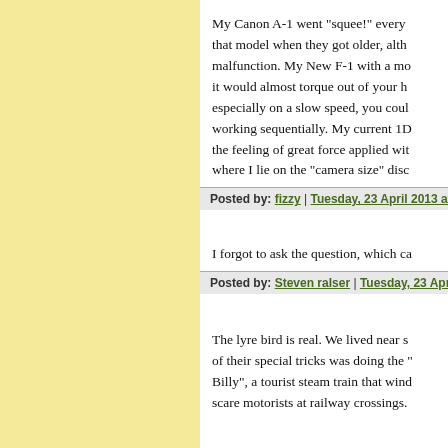My Canon A-1 went "squee!" every that model when they got older, alth malfunction. My New F-1 with a m it would almost torque out of your h especially on a slow speed, you cou working sequentially. My current 1D the feeling of great force applied wi where I lie on the "camera size" dis
Posted by: fizzy | Tuesday, 23 April 2013 at 04:20 PM
I forgot to ask the question, which c
Posted by: Steven raIser | Tuesday, 23 April 2013 at 04
The lyre bird is real. We lived near s of their special tricks was doing the Billy", a tourist steam train that win scare motorists at railway crossings.